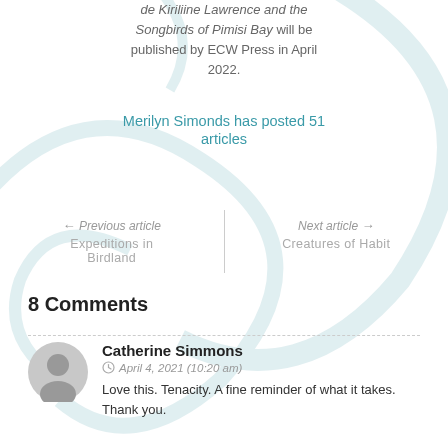de Kiriliine Lawrence and the Songbirds of Pimisi Bay will be published by ECW Press in April 2022.
Merilyn Simonds has posted 51 articles
← Previous article
Expeditions in Birdland
Next article →
Creatures of Habit
8 Comments
Catherine Simmons
April 4, 2021 (10:20 am)
Love this. Tenacity. A fine reminder of what it takes. Thank you.